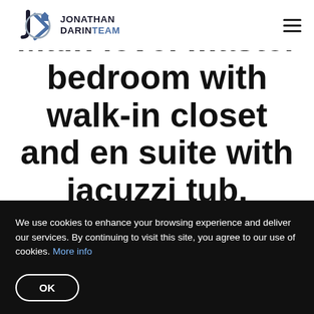Jonathan Darin Team
Main level master bedroom with walk-in closet and en suite with jacuzzi tub, steam shower, and double vanity
We use cookies to enhance your browsing experience and deliver our services. By continuing to visit this site, you agree to our use of cookies. More info
OK